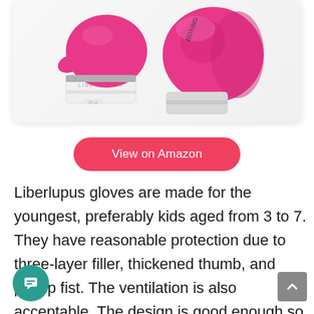[Figure (photo): Pink Liberlupus boxing gloves for kids, shown in a product photo on white background. The gloves are pink with white wrist strap labeled LIBERLUPUS and a boxing logo on the other glove.]
View on Amazon
Liberlupus gloves are made for the youngest, preferably kids aged from 3 to 7. They have reasonable protection due to three-layer filler, thickened thumb, and plump fist. The ventilation is also acceptable. The design is good enough so